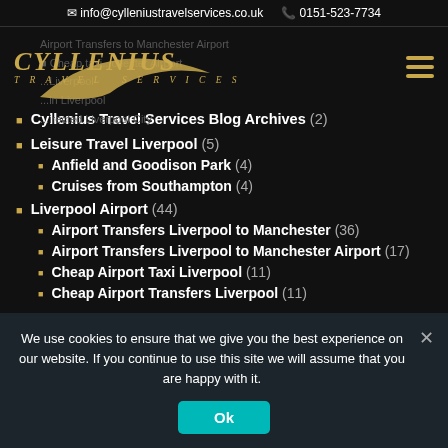info@cylleniustravelservices.co.uk  0151-523-7734
[Figure (logo): Cyllenius Travel Services logo with gold swoosh and stylized text]
Cyllenius Travel Services Blog Archives (2)
Leisure Travel Liverpool (5)
Anfield and Goodison Park (4)
Cruises from Southampton (4)
Liverpool Airport (44)
Airport Transfers Liverpool to Manchester (36)
Airport Transfers Liverpool to Manchester Airport (17)
Cheap Airport Taxi Liverpool (11)
Cheap Airport Transfers Liverpool (11)
We use cookies to ensure that we give you the best experience on our website. If you continue to use this site we will assume that you are happy with it.